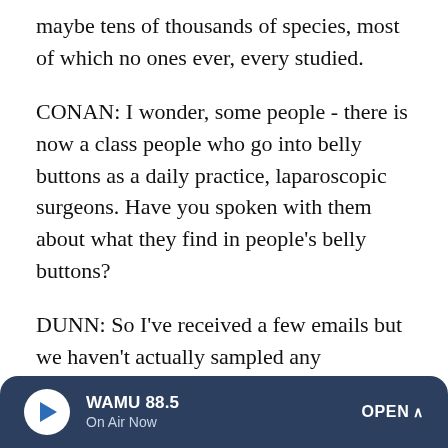maybe tens of thousands of species, most of which no ones ever, every studied.
CONAN: I wonder, some people - there is now a class people who go into belly buttons as a daily practice, laparoscopic surgeons. Have you spoken with them about what they find in people's belly buttons?
DUNN: So I've received a few emails but we haven't actually sampled any laparoscopic - well, we don' know if we've sampled any belly buttons that have had laparoscopic surgery. We probably actually have. But we do hear lots of anecdotes about belly buttons that we didn't know before.
For example, it turns out that in Japan, traditionally, mothers
WAMU 88.5 On Air Now OPEN ^